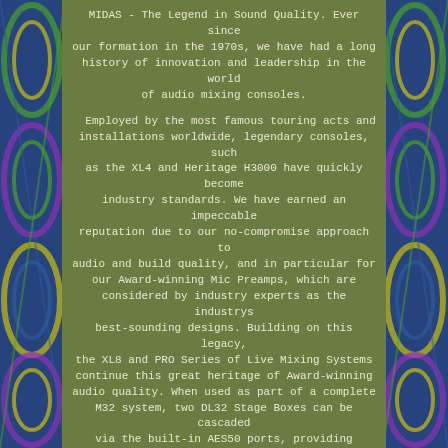MIDAS - The Legend in Sound Quality. Ever since our formation in the 1970s, we have had a long history of innovation and leadership in the world of audio mixing consoles.
Employed by the most famous touring acts and installations worldwide, legendary consoles, such as the XL4 and Heritage H3000 have quickly become industry standards. We have earned an impeccable reputation due to our no-compromise approach to audio and build quality, and in particular for our Award-winning Mic Preamps, which are considered by industry experts as the industrys best-sounding designs. Building on this legacy, the XL8 and PRO Series of Live Mixing Systems continue this great heritage of Award-winning audio quality. When used as part of a complete M32 system, two DL32 Stage Boxes can be cascaded via the built-in AES50 ports, providing connectivity for up to 64 mic/line inputs, 32 balanced outputs and the ULTRANET port allows direct connection to TURBOSOND iQ Series loudspeakers and the BEHRINGER POWERPLAY P-16 Personal Monitoring System which can feed up to 48 individual monitor mixers.
We also included 2 optical ADAT sockets and AES-3 (AES/EBU) for connecting to outboard devices, a convenient USB port for system updates via your PC plus MIDI I/O for lighting systems and sound module control. The DL32 was initially designed with our flagship M32 Digital Mixing Console in